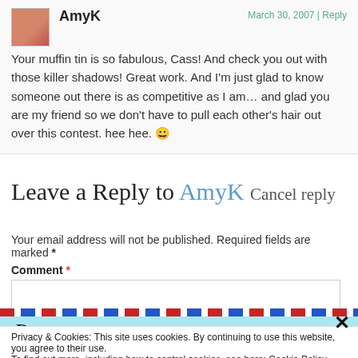AmyK — March 30, 2007 | Reply — Your muffin tin is so fabulous, Cass! And check you out with those killer shadows! Great work. And I'm just glad to know someone out there is as competitive as I am… and glad you are my friend so we don't have to pull each other's hair out over this contest. hee hee. 😀
Leave a Reply to AmyK Cancel reply
Your email address will not be published. Required fields are marked *
Comment *
Privacy & Cookies: This site uses cookies. By continuing to use this website, you agree to their use. To find out more, including how to control cookies, see here: Cookie Policy